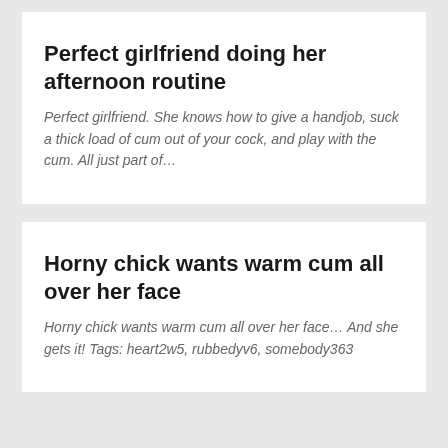Perfect girlfriend doing her afternoon routine
Perfect girlfriend. She knows how to give a handjob, suck a thick load of cum out of your cock, and play with the cum. All just part of…
Horny chick wants warm cum all over her face
Horny chick wants warm cum all over her face… And she gets it! Tags: heart2w5, rubbedyv6, somebody363